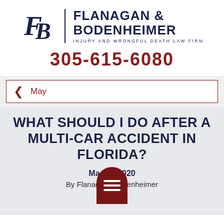[Figure (logo): Flanagan & Bodenheimer law firm logo with FB monogram and firm name]
305-615-6080
May
WHAT SHOULD I DO AFTER A MULTI-CAR ACCIDENT IN FLORIDA?
May 2020
By Flanagan & Bodenheimer